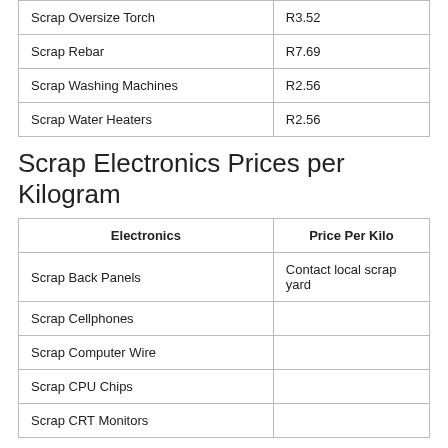|  |  |
| --- | --- |
| Scrap Oversize Torch | R3.52 |
| Scrap Rebar | R7.69 |
| Scrap Washing Machines | R2.56 |
| Scrap Water Heaters | R2.56 |
Scrap Electronics Prices per Kilogram
| Electronics | Price Per Kilo |
| --- | --- |
| Scrap Back Panels | Contact local scrap yard |
| Scrap Cellphones |  |
| Scrap Computer Wire |  |
| Scrap CPU Chips |  |
| Scrap CRT Monitors |  |